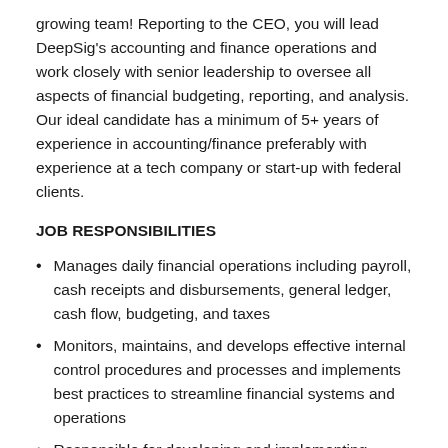growing team! Reporting to the CEO, you will lead DeepSig's accounting and finance operations and work closely with senior leadership to oversee all aspects of financial budgeting, reporting, and analysis. Our ideal candidate has a minimum of 5+ years of experience in accounting/finance preferably with experience at a tech company or start-up with federal clients.
JOB RESPONSIBILITIES
Manages daily financial operations including payroll, cash receipts and disbursements, general ledger, cash flow, budgeting, and taxes
Monitors, maintains, and develops effective internal control procedures and processes and implements best practices to streamline financial systems and operations
Responsible for developing and implementing efficient processes to meet the evolving needs of